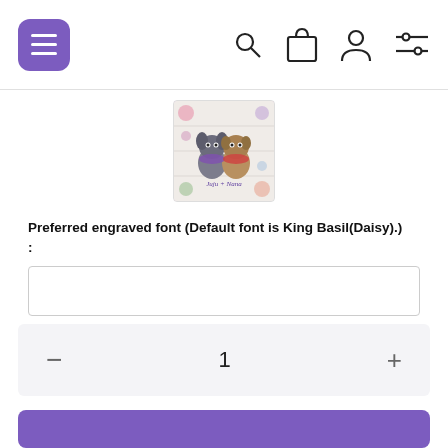[Navigation bar with menu button, search, bag, account, and filter icons]
[Figure (photo): Square logo image with two dogs (a French Bulldog and a Pug) surrounded by floral decorations with text 'Juju + Nana']
Preferred engraved font (Default font is King Basil(Daisy).) :
1 (quantity selector)
[Figure (other): Partially visible purple Add to Cart button at the bottom]